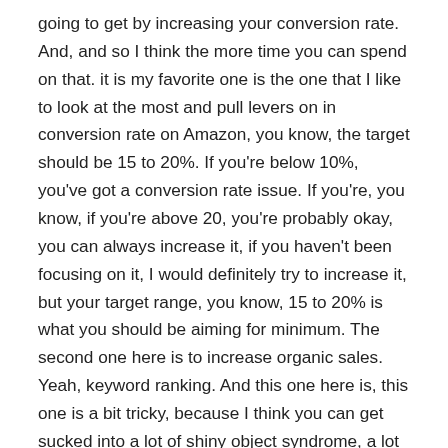going to get by increasing your conversion rate. And, and so I think the more time you can spend on that. it is my favorite one is the one that I like to look at the most and pull levers on in conversion rate on Amazon, you know, the target should be 15 to 20%. If you're below 10%, you've got a conversion rate issue. If you're, you know, if you're above 20, you're probably okay, you can always increase it, if you haven't been focusing on it, I would definitely try to increase it, but your target range, you know, 15 to 20% is what you should be aiming for minimum. The second one here is to increase organic sales. Yeah, keyword ranking. And this one here is, this one is a bit tricky, because I think you can get sucked into a lot of shiny object syndrome, a lot of these services, a lot of different ways to rank keywords that can annihilate your profits. So this one here, monitor your keyword ranking. And we'll get into more ways to pull levers on keyword ranking. But keyword ranking if you're organically ranked really high with a keyword, you're going